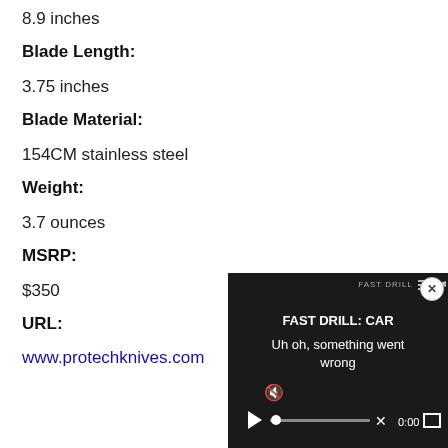8.9 inches
Blade Length:
3.75 inches
Blade Material:
154CM stainless steel
Weight:
3.7 ounces
MSRP:
$350
URL:
www.protechknives.com
[Figure (screenshot): Video player overlay showing 'FAST DRILL: CAR' title with error message 'Uh oh, something went wrong' and playback controls at 0:00]